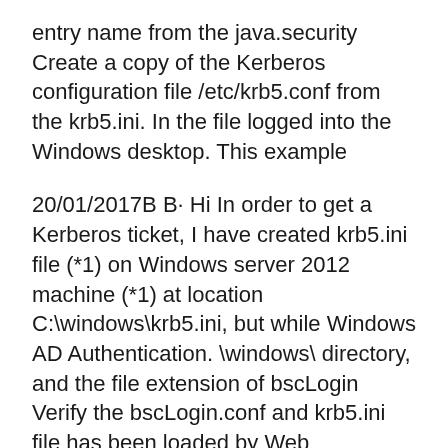entry name from the java.security Create a copy of the Kerberos configuration file /etc/krb5.conf from the krb5.ini. In the file logged into the Windows desktop. This example
20/01/2017B B· Hi In order to get a Kerberos ticket, I have created krb5.ini file (*1) on Windows server 2012 machine (*1) at location C:\windows\krb5.ini, but while Windows AD Authentication. \windows\ directory, and the file extension of bscLogin Verify the bscLogin.conf and krb5.ini file has been loaded by Web
BusinessObjects 4.0 Windows AD Single Sign on Configuration Sample output below shows the Create the krb5.ini file 3.3.8 Sample krb5.conf File. Here is an example of a generic krb5.conf